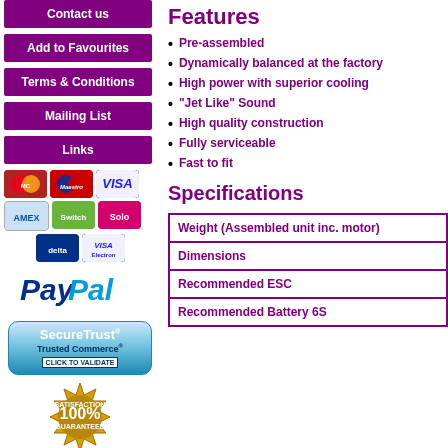Contact us
Add to Favourites
Terms & Conditions
Mailing List
Links
[Figure (other): Payment icons: MasterCard, Maestro, VISA, AMEX, Switch, Solo, Delta, VISA Electron]
[Figure (logo): PayPal logo in blue and light blue italic text]
[Figure (other): SecureTrust Trusted Commerce CLICK TO VALIDATE badge]
[Figure (other): 100% Satisfaction Guaranteed gold badge]
[Figure (other): Padlock icon for 128 Bit Secure Shopping]
128 Bit Secure Shopping
Features
Pre-assembled
Dynamically balanced at the factory
High power with superior cooling
"Jet Like" Sound
High quality construction
Fully serviceable
Fast to fit
Specifications
| Specification |
| --- |
| Weight (Assembled unit inc. motor) |
| Dimensions |
| Recommended ESC |
| Recommended Battery 6S |